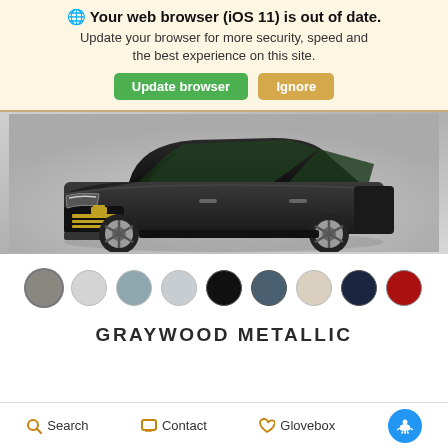🌐 Your web browser (iOS 11) is out of date. Update your browser for more security, speed and the best experience on this site.
[Figure (screenshot): Browser update warning banner with green 'Update browser' button and gold 'Ignore' button]
[Figure (photo): Dark-colored Chevrolet Tahoe SUV front 3/4 view on grey gradient background]
[Figure (other): Color swatches for vehicle exterior colors: grey selected, light grey, blue-grey, light blue-grey, black, slate blue, cream/tan, dark navy, red]
GRAYWOOD METALLIC
Search   Contact   Glovebox